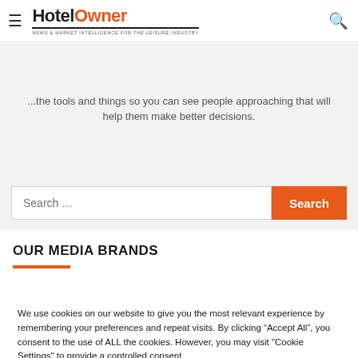Hotel Owner — news & market intelligence for the leisure industry
...the tools and things so you can see people approaching that will help them make better decisions.
Search ...
OUR MEDIA BRANDS
We use cookies on our website to give you the most relevant experience by remembering your preferences and repeat visits. By clicking "Accept All", you consent to the use of ALL the cookies. However, you may visit "Cookie Settings" to provide a controlled consent.